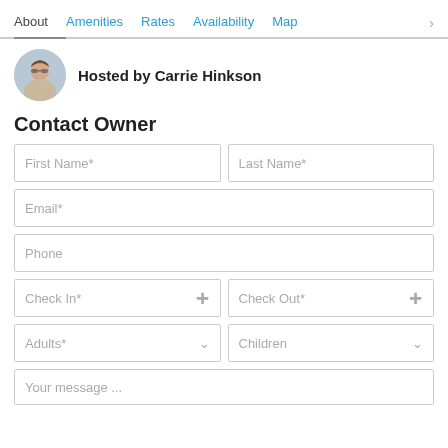About | Amenities | Rates | Availability | Map
Hosted by Carrie Hinkson
Contact Owner
First Name*
Last Name*
Email*
Phone
Check In*
Check Out*
Adults*
Children
Your message ...